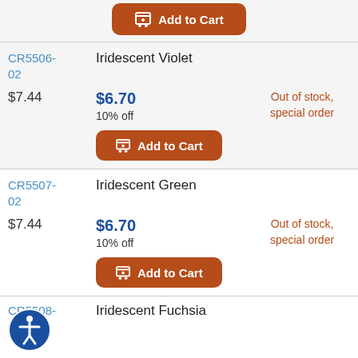[Figure (other): Add to Cart button (partially visible at top)]
CR5506-02
Iridescent Violet
$7.44
$6.70
10% off
Out of stock, special order
[Figure (other): Add to Cart button]
CR5507-02
Iridescent Green
$7.44
$6.70
10% off
Out of stock, special order
[Figure (other): Add to Cart button]
CR5508-02
Iridescent Fuchsia
[Figure (other): Accessibility icon button]